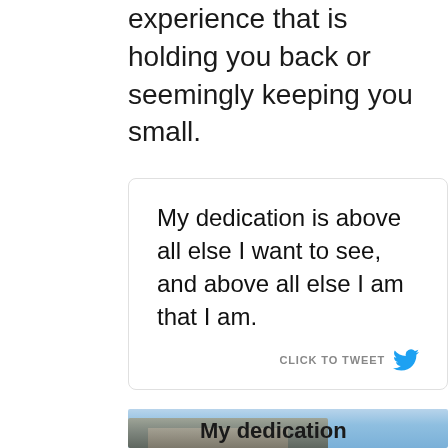experience that is holding you back or seemingly keeping you small.
My dedication is above all else I want to see, and above all else I am that I am.
[Figure (screenshot): Partial image showing rocky mountain cliffs against a blue sky with text 'My dedication' overlaid]